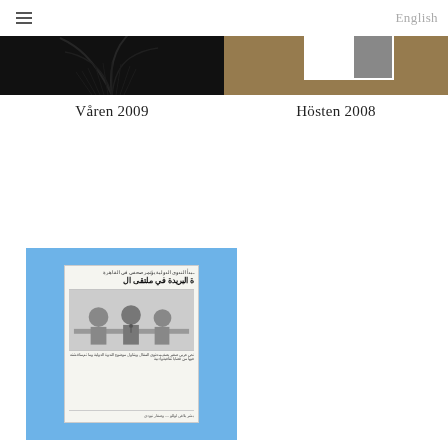≡  English
[Figure (photo): Left cover image: dark background with palm frond silhouettes - Våren 2009 issue]
[Figure (photo): Right cover image: tan/brown background with partial figure in white frame - Hösten 2008 issue]
Våren 2009
Hösten 2008
[Figure (photo): Blue cover with Arabic newspaper clipping showing people seated at a table - Våren 2008 issue]
Våren 2008